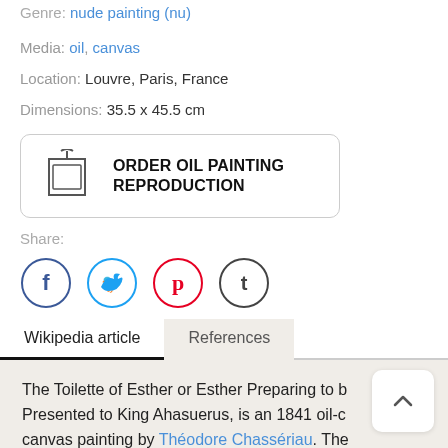Genre: nude painting (nu)
Media: oil, canvas
Location: Louvre, Paris, France
Dimensions: 35.5 x 45.5 cm
[Figure (infographic): ORDER OIL PAINTING REPRODUCTION button with frame icon]
Share:
[Figure (infographic): Social media icons: Facebook, Twitter, Pinterest, Tumblr]
Wikipedia article | References (tabs)
The Toilette of Esther or Esther Preparing to b... Presented to King Ahasuerus, is an 1841 oil-c... canvas painting by Théodore Chassériau. The painting depicts a moment from the scriptural...